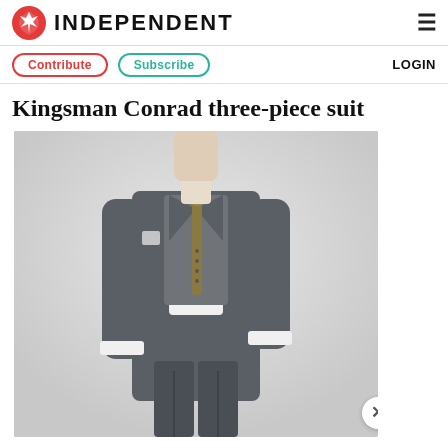INDEPENDENT
Contribute   Subscribe   LOGIN
Kingsman Conrad three-piece suit
[Figure (photo): A man wearing a grey Kingsman Conrad three-piece suit with a white dress shirt and olive/gold tie, posed against a light grey background. The image is cropped at the top just above the collar and extends to below the knees.]